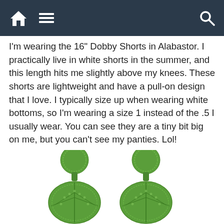[Navigation bar with home icon, menu icon, and search icon]
I'm wearing the 16" Dobby Shorts in Alabastor. I practically live in white shorts in the summer, and this length hits me slightly above my knees. These shorts are lightweight and have a pull-on design that I love. I typically size up when wearing white bottoms, so I'm wearing a size 1 instead of the .5 I usually wear. You can see they are a tiny bit big on me, but you can't see my panties. Lol!
I love these palm leaf earrings, but they have already sold out. It seems like Chico's earrings are the first things to sell out.
[Figure (photo): Two green beaded palm leaf earrings shown from the top, partially cropped at the bottom of the page]